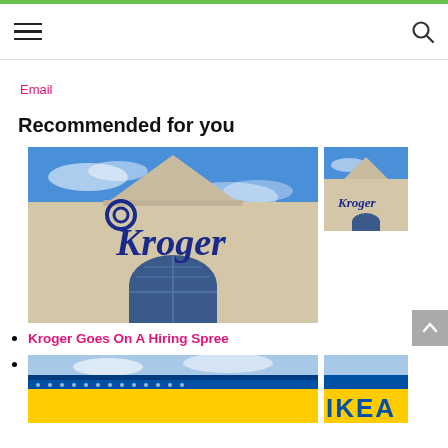Email
Recommended for you
Kroger Goes On A Hiring Spree
[Figure (photo): Kroger store exterior showing the Kroger logo on a beige building facade with a blue sky background, plus a smaller thumbnail of the same]
Kroger Goes On A Hiring Spree
[Figure (photo): IKEA store exterior with blue facade and yellow IKEA letters visible]